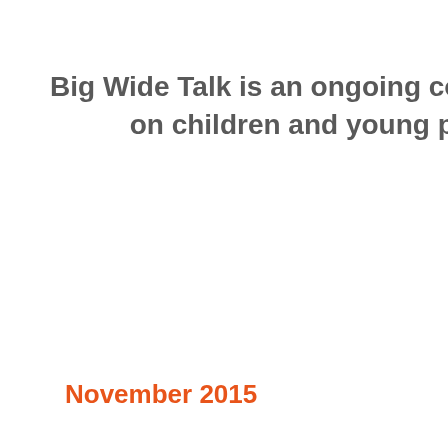Big Wide Talk is an ongoing conversation on children and young pe
November 2015